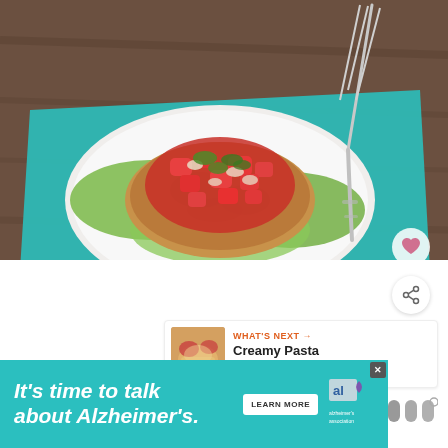[Figure (photo): A fish or chicken burger/patty topped with fresh pico de gallo salsa, served on a white plate with green lettuce leaves on a teal napkin on a wooden table. A silver fork is visible in the upper right.]
[Figure (infographic): Heart/favorite button (pink circle with heart icon) overlaid on lower-right of food photo]
[Figure (infographic): Share button (white circle with share icon) below heart button]
WHAT'S NEXT → Creamy Pasta with Roaste...
[Figure (photo): Thumbnail of creamy pasta with roasted vegetables]
It's time to talk about Alzheimer's.
LEARN MORE
[Figure (logo): Alzheimer's Association logo]
[Figure (logo): Three vertical bars logo (app/brand logo) on right side]